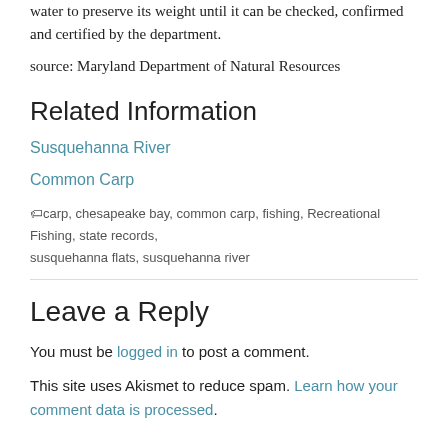water to preserve its weight until it can be checked, confirmed and certified by the department.
source: Maryland Department of Natural Resources
Related Information
Susquehanna River
Common Carp
carp, chesapeake bay, common carp, fishing, Recreational Fishing, state records, susquehanna flats, susquehanna river
Leave a Reply
You must be logged in to post a comment.
This site uses Akismet to reduce spam. Learn how your comment data is processed.